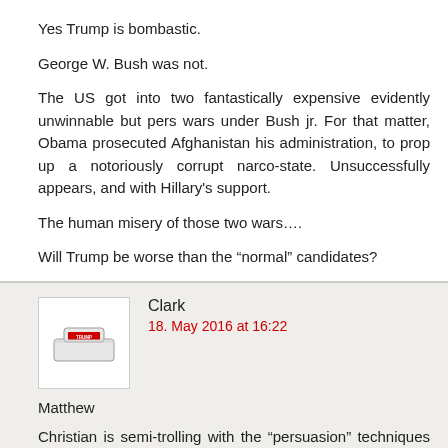Yes Trump is bombastic.
George W. Bush was not.
The US got into two fantastically expensive evidently unwinnable but pe... wars under Bush jr. For that matter, Obama prosecuted Afghanistan hi... administration, to prop up a notoriously corrupt narco-state. Unsucces... appears, and with Hillary’s support.
The human misery of those two wars….
Will Trump be worse than the “normal” candidates?
Clark
18. May 2016 at 16:22
Matthew
Christian is semi-trolling with the “persuasion” techniques that Scott (Dilbert) writes about on his blog. It’s pretty dopey, but it has to be said i... kind of convincing in the GOP primaries. Trump did win against great odds. GOP electorate has been hoodwinked for years, imo. It’s not that dif... suspect the salesman techniques Trump uses won’t be so effective on the... electorate.